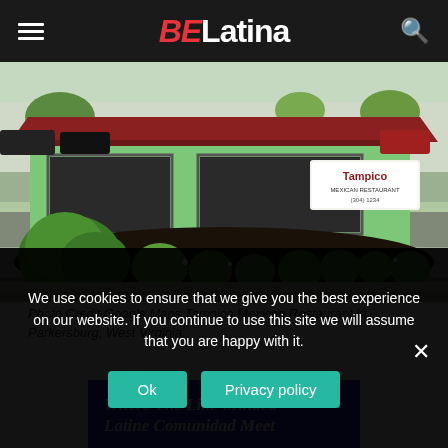BELatina
[Figure (photo): Exterior photo of Tampico Mexican Restaurant in Parkersburg, West Virginia. A green building with a red roof, signage visible, landscaped with trimmed bushes and dark mulch in the foreground, parking lot visible in the background.]
Photo Credit Google Maps Tampico Mexican Restaurant in Parkersburg, West Virginia.
[Figure (infographic): Blue banner advertisement reading 'Where The Like-Minded Latine Comunidad Meet']
We use cookies to ensure that we give you the best experience on our website. If you continue to use this site we will assume that you are happy with it.